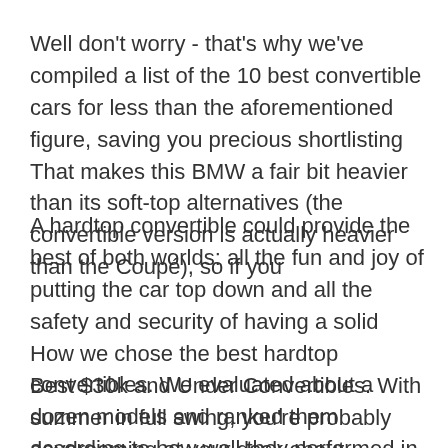Well don't worry - that's why we've compiled a list of the 10 best convertible cars for less than the aforementioned figure, saving you precious shortlisting That makes this BMW a fair bit heavier than its soft-top alternatives (the convertible version is actually heavier than the Coupé), so if you
A hardtop convertible could provide the best of both worlds: all the fun and joy of putting the car top down and all the safety and security of having a solid How we chose the best hardtop convertibles. We evaluated about a dozen models and ranked them according to how well they performed in
Best $30k and Under Convertibles. With summer in full swing, you're probably daydreaming at your desk about